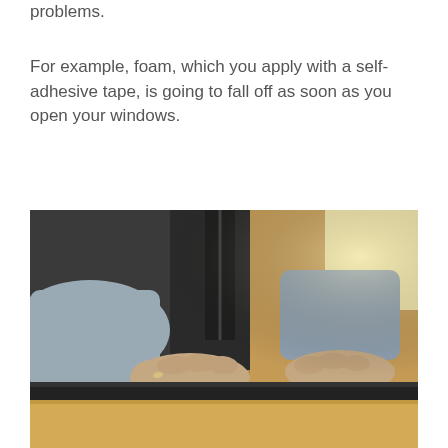problems.
For example, foam, which you apply with a self-adhesive tape, is going to fall off as soon as you open your windows.
[Figure (photo): Close-up photo of a person's hands pressing down on dark foam weatherstripping being applied to the top edge of a wooden window frame. The person is wearing a grey long-sleeve shirt under a dark zip-up jacket. A wooden wall and bright window are visible in the background.]